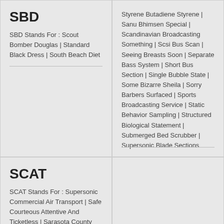SBD
SBD Stands For : Scout Bomber Douglas | Standard Black Dress | South Beach Diet
Styrene Butadiene Styrene | Sanu Bhimsen Special | Scandinavian Broadcasting Something | Scsi Bus Scan | Seeing Breasts Soon | Separate Bass System | Short Bus Section | Single Bubble State | Some Bizarre Sheila | Sorry Barbers Surfaced | Sports Broadcasting Service | Static Behavior Sampling | Structured Biological Statement | Submerged Bed Scrubber | Supersonic Blade Sections
SCAT
SCAT Stands For : Supersonic Commercial Air Transport | Safe Courteous Attentive And Ticketless | Sarasota County Area Transit |
SCD
SCD Stands For : Side S...